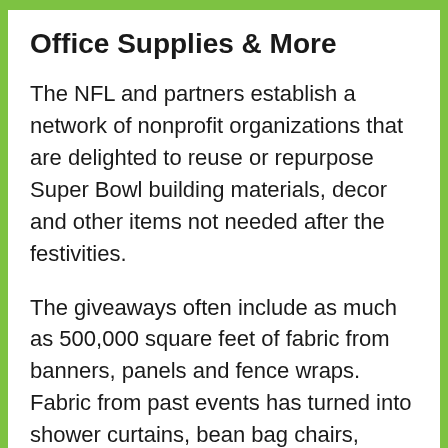Office Supplies & More
The NFL and partners establish a network of nonprofit organizations that are delighted to reuse or repurpose Super Bowl building materials, decor and other items not needed after the festivities.
The giveaways often include as much as 500,000 square feet of fabric from banners, panels and fence wraps. Fabric from past events has turned into shower curtains, bean bag chairs, backpacks, dresses and purses, Groh says. In Arizona,